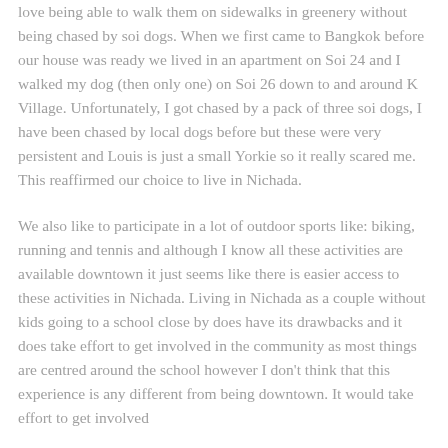love being able to walk them on sidewalks in greenery without being chased by soi dogs. When we first came to Bangkok before our house was ready we lived in an apartment on Soi 24 and I walked my dog (then only one) on Soi 26 down to and around K Village. Unfortunately, I got chased by a pack of three soi dogs, I have been chased by local dogs before but these were very persistent and Louis is just a small Yorkie so it really scared me. This reaffirmed our choice to live in Nichada.
We also like to participate in a lot of outdoor sports like: biking, running and tennis and although I know all these activities are available downtown it just seems like there is easier access to these activities in Nichada. Living in Nichada as a couple without kids going to a school close by does have its drawbacks and it does take effort to get involved in the community as most things are centred around the school however I don't think that this experience is any different from being downtown. It would take effort to get involved